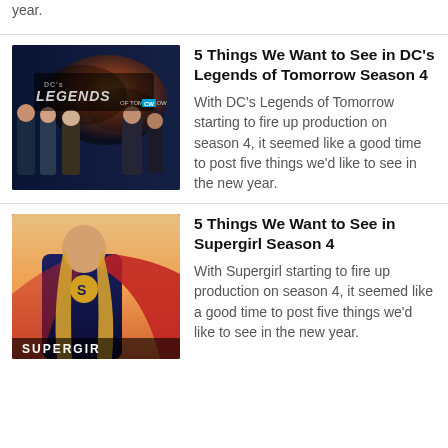year.
[Figure (photo): DC's Legends of Tomorrow Season 4 promotional poster showing cast members with the show logo on a CW background with explosion effects]
5 Things We Want to See in DC's Legends of Tomorrow Season 4
With DC's Legends of Tomorrow starting to fire up production on season 4, it seemed like a good time to post five things we'd like to see in the new year.
[Figure (photo): Supergirl Season 4 promotional poster showing Melissa Benoist in costume with the Supergirl logo at the bottom]
5 Things We Want to See in Supergirl Season 4
With Supergirl starting to fire up production on season 4, it seemed like a good time to post five things we'd like to see in the new year.